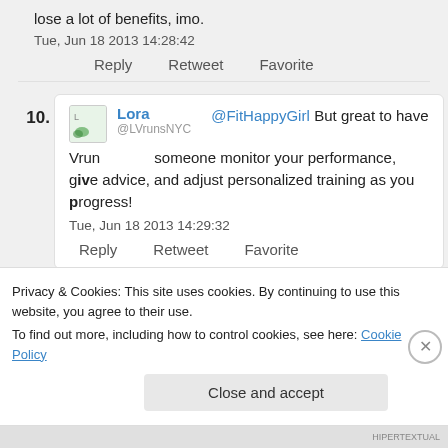lose a lot of benefits, imo.
Tue, Jun 18 2013 14:28:42
Reply    Retweet    Favorite
10. Lora @LVrunsNYC  @FitHappyGirl But great to have someone monitor your performance, give advice, and adjust personalized training as you progress!
Tue, Jun 18 2013 14:29:32
Reply    Retweet    Favorite
Privacy & Cookies: This site uses cookies. By continuing to use this website, you agree to their use.
To find out more, including how to control cookies, see here: Cookie Policy
Close and accept